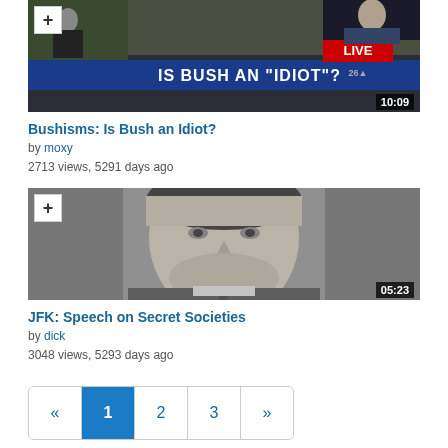[Figure (screenshot): Video thumbnail showing a TV news broadcast with text 'IS BUSH AN IDIOT?' and 'LIVE' banner, with a + button overlay and duration 10:09]
Bushisms: Is Bush an Idiot?
by moxy
2713 views, 5291 days ago
[Figure (screenshot): Video thumbnail showing a black and white close-up photo of JFK, with a + button overlay and duration 05:23]
JFK: Speech on Secret Societies
by dick
3048 views, 5293 days ago
« 1 2 3 »